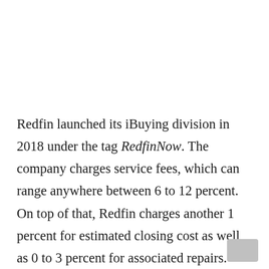Redfin launched its iBuying division in 2018 under the tag RedfinNow. The company charges service fees, which can range anywhere between 6 to 12 percent. On top of that, Redfin charges another 1 percent for estimated closing cost as well as 0 to 3 percent for associated repairs.